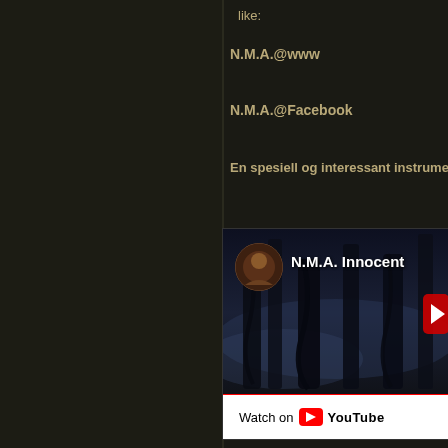like:
N.M.A.@www
N.M.A.@Facebook
En spesiell og interessant instrume...
[Figure (screenshot): YouTube video embed showing 'N.M.A. Innocent' with a dark atmospheric background image of shadowy figures. A channel icon (circular portrait) appears top left of the video. A 'Watch on YouTube' bar appears at the bottom with the YouTube logo.]